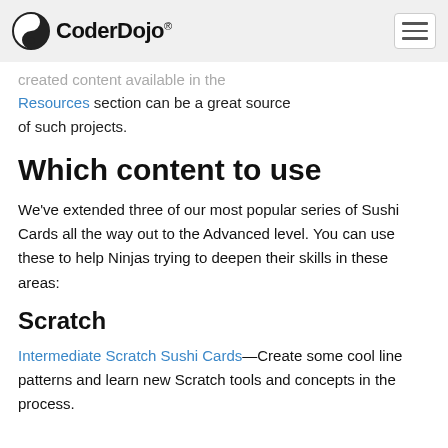CoderDojo®
created content available in the Resources section can be a great source of such projects.
Which content to use
We've extended three of our most popular series of Sushi Cards all the way out to the Advanced level. You can use these to help Ninjas trying to deepen their skills in these areas:
Scratch
Intermediate Scratch Sushi Cards—Create some cool line patterns and learn new Scratch tools and concepts in the process.